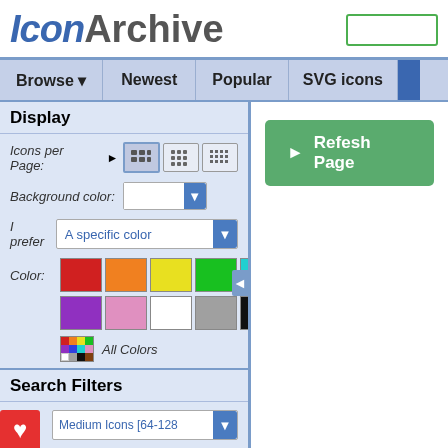IconArchive
Browse ▼   Newest   Popular   SVG icons
Display
Icons per Page:
Background color:
I prefer   A specific color
Color:
[Figure (screenshot): Color swatches grid: red, orange, yellow, green, cyan, blue (row 1); purple, pink, white, gray, black, brown (row 2); All Colors icon]
Search Filters
Size:   Medium Icons [64-128
Category:   Apple
e:   Photorealistic